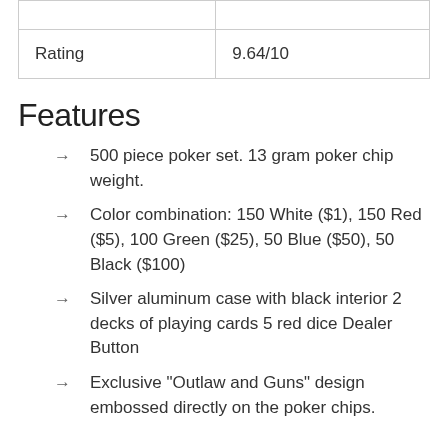| Rating | 9.64/10 |
Features
500 piece poker set. 13 gram poker chip weight.
Color combination: 150 White ($1), 150 Red ($5), 100 Green ($25), 50 Blue ($50), 50 Black ($100)
Silver aluminum case with black interior 2 decks of playing cards 5 red dice Dealer Button
Exclusive "Outlaw and Guns" design embossed directly on the poker chips.